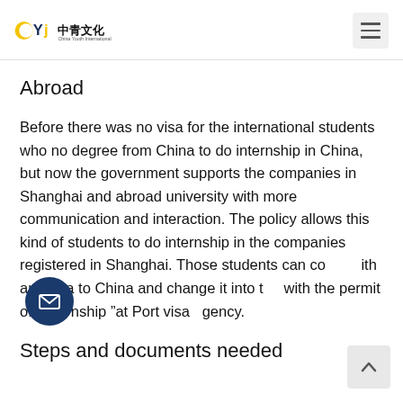CYJ 中青文化 China Youth International
Abroad
Before there was no visa for the international students who no degree from China to do internship in China, but now the government supports the companies in Shanghai and abroad university with more communication and interaction. The policy allows this kind of students to do internship in the companies registered in Shanghai. Those students can come with any visa to China and change it into the with the permit of "Internship" at Port visa agency.
Steps and documents needed